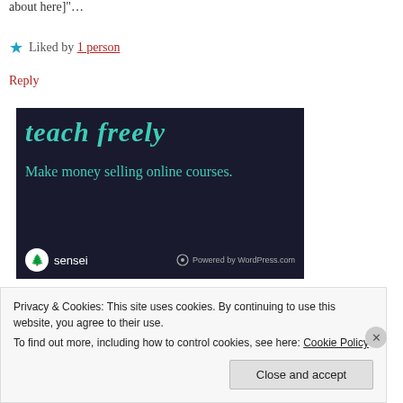about here]"…
★ Liked by 1 person
Reply
[Figure (screenshot): Advertisement for Sensei plugin showing 'teach freely' and 'Make money selling online courses.' on dark navy background with Sensei and WordPress.com logos at bottom]
Privacy & Cookies: This site uses cookies. By continuing to use this website, you agree to their use.
To find out more, including how to control cookies, see here: Cookie Policy
Close and accept